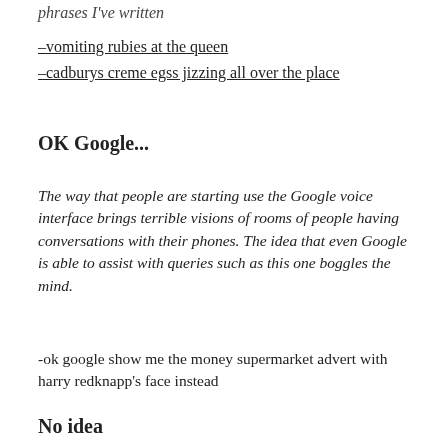phrases I've written
–vomiting rubies at the queen
–cadburys creme egss jizzing all over the place
OK Google...
The way that people are starting use the Google voice interface brings terrible visions of rooms of people having conversations with their phones. The idea that even Google is able to assist with queries such as this one boggles the mind.
-ok google show me the money supermarket advert with harry redknapp's face instead
No idea